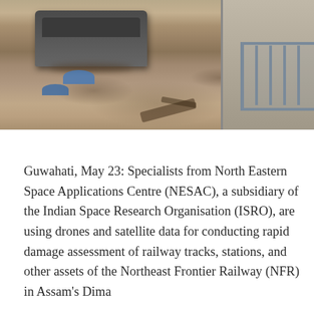[Figure (photo): Aerial or ground-level photograph showing severe flood conditions with muddy brown water inundating a railway or transport area. A heavy vehicle or locomotive is partially submerged in the center-left. Blue tarps or umbrellas are visible in the water. A metal-railed staircase structure is visible on the right side. Debris is floating in the floodwater.]
Guwahati, May 23: Specialists from North Eastern Space Applications Centre (NESAC), a subsidiary of the Indian Space Research Organisation (ISRO), are using drones and satellite data for conducting rapid damage assessment of railway tracks, stations, and other assets of the Northeast Frontier Railway (NFR) in Assam's Dima